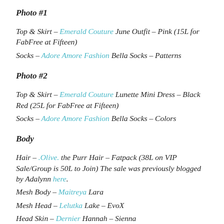Photo  #1
Top & Skirt – Emerald Couture June Outfit – Pink (15L for FabFree at Fifteen)
Socks – Adore Amore Fashion Bella Socks – Patterns
Photo  #2
Top & Skirt – Emerald Couture Lunette Mini Dress – Black Red (25L for FabFree at Fifteen)
Socks – Adore Amore Fashion Bella Socks – Colors
Body
Hair – .Olive. the Purr Hair – Fatpack (38L on VIP Sale/Group is 50L to Join) The sale was previously blogged by Adalynn here.
Mesh Body – Maitreya Lara
Mesh Head – Lelutka Lake – EvoX
Head Skin – Dernier Hannah – Sienna